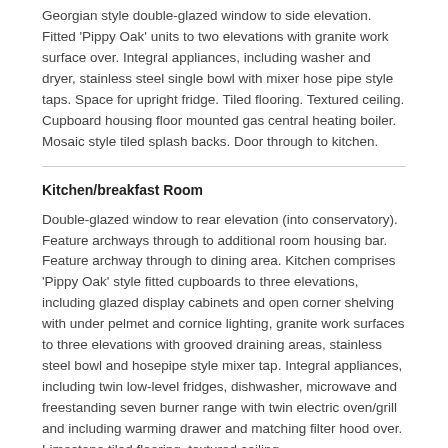Georgian style double-glazed window to side elevation. Fitted 'Pippy Oak' units to two elevations with granite work surface over. Integral appliances, including washer and dryer, stainless steel single bowl with mixer hose pipe style taps. Space for upright fridge. Tiled flooring. Textured ceiling. Cupboard housing floor mounted gas central heating boiler. Mosaic style tiled splash backs. Door through to kitchen.
Kitchen/breakfast Room
Double-glazed window to rear elevation (into conservatory). Feature archways through to additional room housing bar. Feature archway through to dining area. Kitchen comprises 'Pippy Oak' style fitted cupboards to three elevations, including glazed display cabinets and open corner shelving with under pelmet and cornice lighting, granite work surfaces to three elevations with grooved draining areas, stainless steel bowl and hosepipe style mixer tap. Integral appliances, including twin low-level fridges, dishwasher, microwave and freestanding seven burner range with twin electric oven/grill and including warming drawer and matching filter hood over. Limestone tiled flooring, textured ceiling.